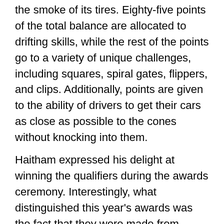the smoke of its tires. Eighty-five points of the total balance are allocated to drifting skills, while the rest of the points go to a variety of unique challenges, including squares, spiral gates, flippers, and clips. Additionally, points are given to the ability of drivers to get their cars as close as possible to the cones without knocking into them.
Haitham expressed his delight at winning the qualifiers during the awards ceremony. Interestingly, what distinguished this year's awards was the fact that they were made from recycled car parts. Haitham confirmed that he is looking forward to competing in the Red Bull Car Park Drift Championship, hosted by the Kingdom of Saudi Arabia in November of this year, with his eyes set on winning the world title that Oman previously won twice back in 2016 and 2017. At the World Finals, the Omani drift champion will face the qualifying winners of several